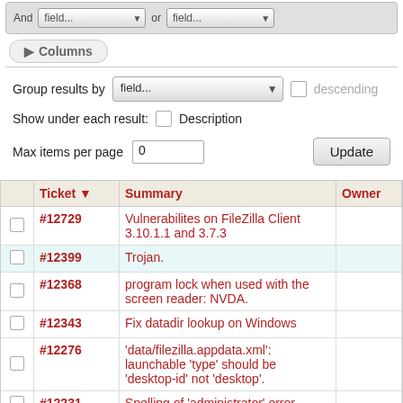[Figure (screenshot): Top toolbar with 'And', 'field...' dropdown, 'or', 'field...' dropdown UI elements]
▶ Columns
Group results by  field...  □ descending
Show under each result: □ Description
Max items per page  0                              Update
|  | Ticket ▼ | Summary | Owner |
| --- | --- | --- | --- |
| □ | #12729 | Vulnerabilites on FileZilla Client 3.10.1.1 and 3.7.3 |  |
| □ | #12399 | Trojan. |  |
| □ | #12368 | program lock when used with the screen reader: NVDA. |  |
| □ | #12343 | Fix datadir lookup on Windows |  |
| □ | #12276 | 'data/filezilla.appdata.xml': launchable 'type' should be 'desktop-id' not 'desktop'. |  |
| □ | #12231 | Spelling of 'administrator' error |  |